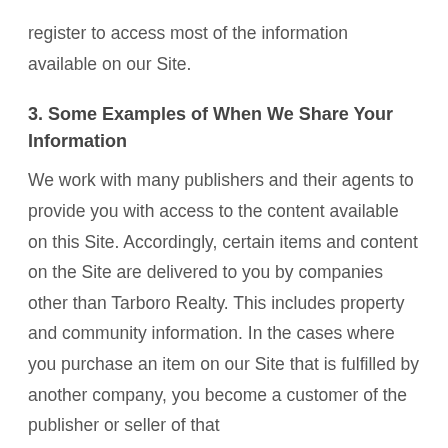register to access most of the information available on our Site.
3. Some Examples of When We Share Your Information
We work with many publishers and their agents to provide you with access to the content available on this Site. Accordingly, certain items and content on the Site are delivered to you by companies other than Tarboro Realty. This includes property and community information. In the cases where you purchase an item on our Site that is fulfilled by another company, you become a customer of the publisher or seller of that